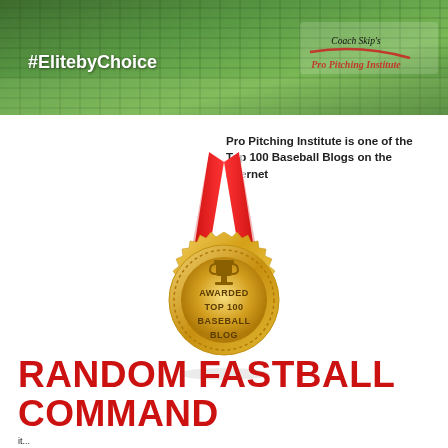[Figure (photo): Header banner image showing a baseball pitching scene with a green net/fence background. Contains #ElitebyChoice text on the left and Coach Skip's Pro Pitching Institute logo on the right.]
Pro Pitching Institute is one of the Top 100 Baseball Blogs on the Internet
[Figure (illustration): Gold medal award badge with red and white ribbon, inscribed with 'AWARDED TOP 100 BASEBALL BLOG' and a trophy icon at the top.]
RANDOM FASTBALL COMMAND
it...